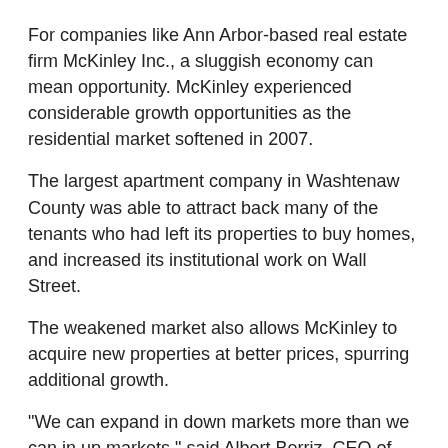For companies like Ann Arbor-based real estate firm McKinley Inc., a sluggish economy can mean opportunity. McKinley experienced considerable growth opportunities as the residential market softened in 2007.
The largest apartment company in Washtenaw County was able to attract back many of the tenants who had left its properties to buy homes, and increased its institutional work on Wall Street.
The weakened market also allows McKinley to acquire new properties at better prices, spurring additional growth.
"We can expand in down markets more than we can in up markets," said Albert Berriz, CEO of McKinley.
He said his company expects to expand in Virginia, Florida, the Carolinas and Georgia, and said it's critical Michigan remakes its economic structure to become more competitive with other states. "We've have seen significant grown in our Eastern Seaboard states," he said.
The Michigan economy, meanwhile, didn't keep Con-way